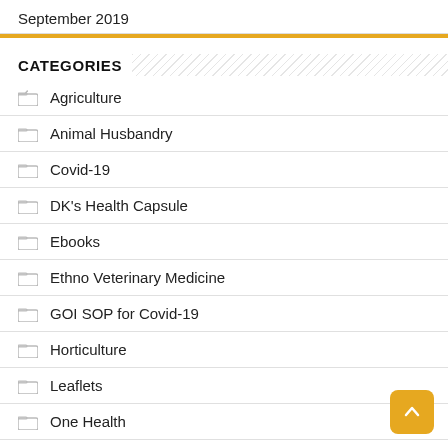September 2019
CATEGORIES
Agriculture
Animal Husbandry
Covid-19
DK's Health Capsule
Ebooks
Ethno Veterinary Medicine
GOI SOP for Covid-19
Horticulture
Leaflets
One Health
Thesis